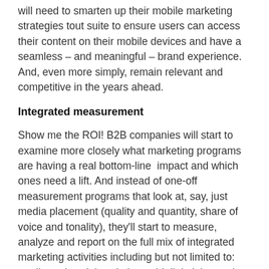will need to smarten up their mobile marketing strategies tout suite to ensure users can access their content on their mobile devices and have a seamless – and meaningful – brand experience.  And, even more simply, remain relevant and competitive in the years ahead.
Integrated measurement
Show me the ROI! B2B companies will start to examine more closely what marketing programs are having a real bottom-line  impact and which ones need a lift. And instead of one-off measurement programs that look at, say, just media placement (quality and quantity, share of voice and tonality), they'll start to measure, analyze and report on the full mix of integrated marketing activities including but not limited to: media and social, website, paid digital, internal communications and engagement, and CRM and direct marketing. A holistic measurement program that is defined and created at the beginning of an engagement – and reviewed at various intervals – is not just smart business, it's essential business.
Leading into the July 4th weekend, this column will make a point of